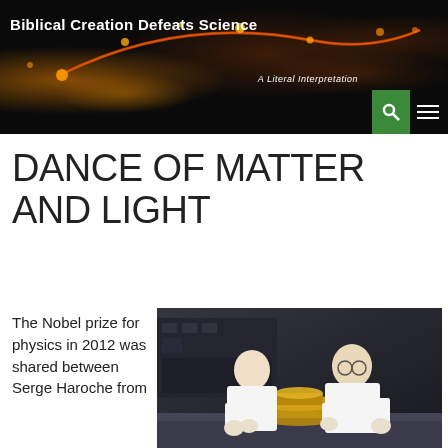[Figure (photo): Website header banner with dark space/galaxy background showing glowing nebula arc, galaxies and stars]
Biblical Creation Defeats Science
A Literal Interpretation
DANCE OF MATTER AND LIGHT
The Nobel prize for physics in 2012 was shared between Serge Haroche from
[Figure (photo): Two scientists in white lab coats working with scientific equipment in a laboratory]